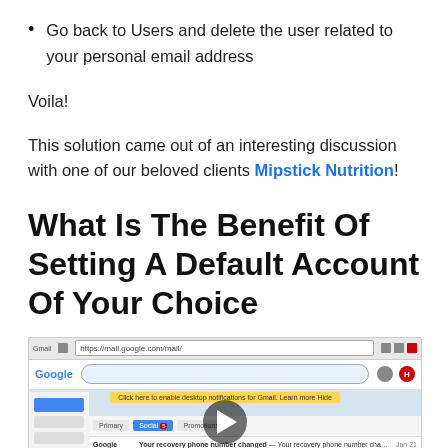Go back to Users and delete the user related to your personal email address
Voila!
This solution came out of an interesting discussion with one of our beloved clients Mipstick Nutrition!
What Is The Benefit Of Setting A Default Account Of Your Choice
[Figure (screenshot): Screenshot of a Gmail inbox in Google Chrome browser showing email messages from Google and Gmail Team, with a video play button overlay in the center]